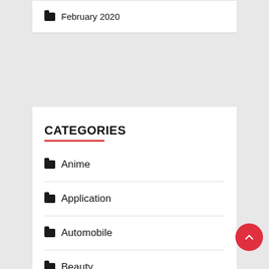February 2020
CATEGORIES
Anime
Application
Automobile
Beauty
Blogging
Business